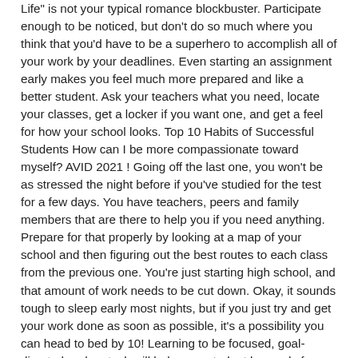Life" is not your typical romance blockbuster. Participate enough to be noticed, but don't do so much where you think that you'd have to be a superhero to accomplish all of your work by your deadlines. Even starting an assignment early makes you feel much more prepared and like a better student. Ask your teachers what you need, locate your classes, get a locker if you want one, and get a feel for how your school looks. Top 10 Habits of Successful Students How can I be more compassionate toward myself? AVID 2021 ! Going off the last one, you won't be as stressed the night before if you've studied for the test for a few days. You have teachers, peers and family members that are there to help you if you need anything. Prepare for that properly by looking at a map of your school and then figuring out the best routes to each class from the previous one. You're just starting high school, and that amount of work needs to be cut down. Okay, it sounds tough to sleep early most nights, but if you just try and get your work done as soon as possible, it's a possibility you can head to bed by 10! Learning to be focused, goal-directed and on task will help your student be ready for success. While you may think all this is a measure of true strength and independence, successful